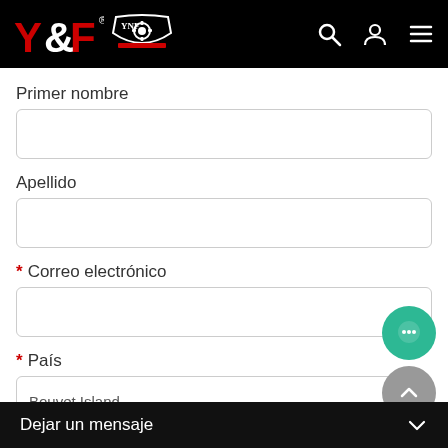Y&F YNF logo with search, user, menu icons
Primer nombre
Apellido
* Correo electrónico
* País
Bouvet Island
Teléfono
Dejar un mensaje